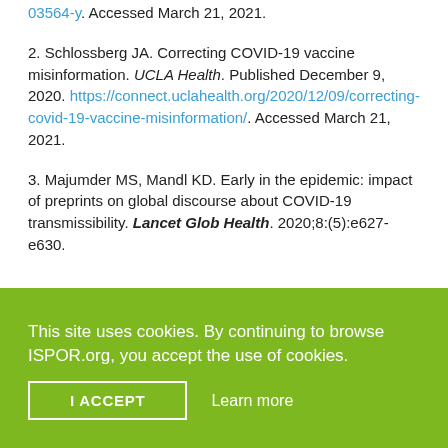03564-y. Accessed March 21, 2021.
2. Schlossberg JA. Correcting COVID-19 vaccine misinformation. UCLA Health. Published December 9, 2020. https://connect.uclahealth.org/2020/12/09/correcting-covid-19-vaccine-misinformation/. Accessed March 21, 2021.
3. Majumder MS, Mandl KD. Early in the epidemic: impact of preprints on global discourse about COVID-19 transmissibility. Lancet Glob Health. 2020;8:(5):e627-e630.
This site uses cookies. By continuing to browse ISPOR.org, you accept the use of cookies.